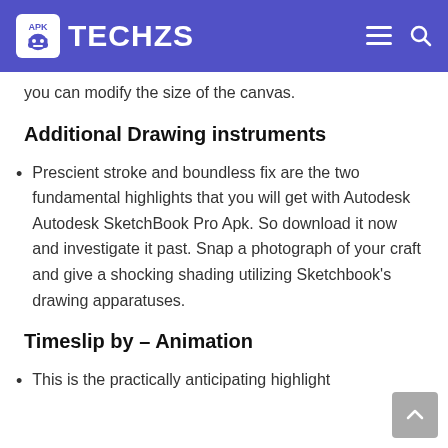TECHZS
you can modify the size of the canvas.
Additional Drawing instruments
Prescient stroke and boundless fix are the two fundamental highlights that you will get with Autodesk Autodesk SketchBook Pro Apk. So download it now and investigate it past. Snap a photograph of your craft and give a shocking shading utilizing Sketchbook’s drawing apparatuses.
Timeslip by – Animation
This is the practically anticipating highlight